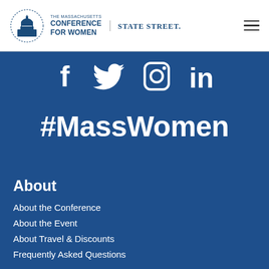[Figure (logo): The Massachusetts Conference for Women logo with capitol dome icon, alongside State Street logo]
[Figure (illustration): Hamburger menu icon (three horizontal lines)]
[Figure (illustration): Social media icons: Facebook, Twitter, Instagram, LinkedIn in white on blue background]
#MassWomen
About
About the Conference
About the Event
About Travel & Discounts
Frequently Asked Questions